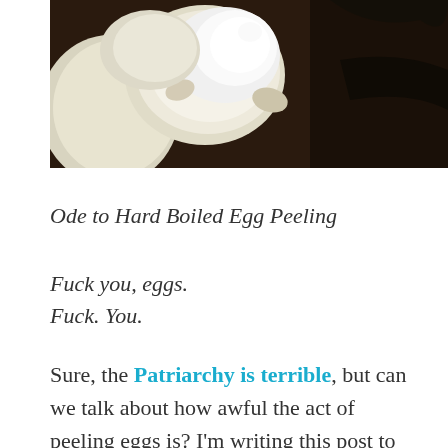[Figure (photo): Close-up photo of hard boiled eggs being peeled, showing white egg albumen with some shell being removed, dark background with plastic bag visible]
Ode to Hard Boiled Egg Peeling
Fuck you, eggs.
Fuck. You.
Sure, the Patriarchy is terrible, but can we talk about how awful the act of peeling eggs is? I'm writing this post to